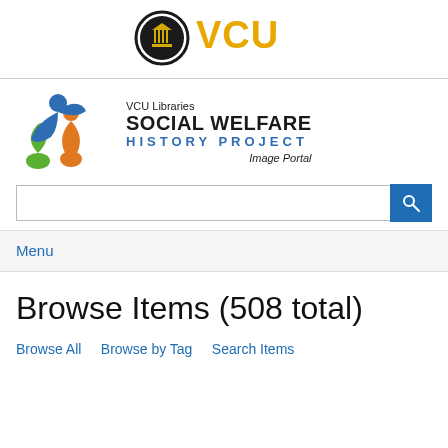[Figure (logo): VCU logo with black circular icon and gold 'VCU' text]
[Figure (logo): VCU Libraries Social Welfare History Project Image Portal logo with colorful figures and text]
[Figure (screenshot): Search input bar with magnifying glass button]
Menu
Browse Items (508 total)
Browse All   Browse by Tag   Search Items